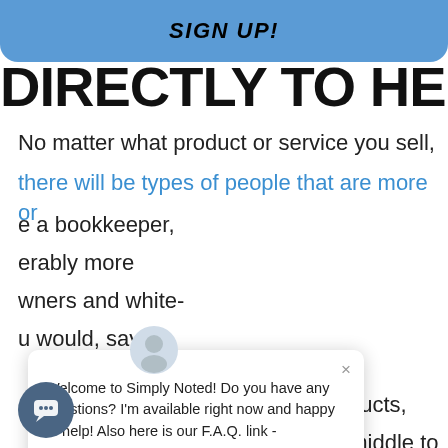SIGN UP!
DIRECTLY TO HER!
No matter what product or service you sell,
there will be types of people that are more or
...e a bookkeeper, ...erably more ...wners and white- ...u would, say,
[Figure (screenshot): Chat popup overlay from Simply Noted with avatar icon, close button (×), and message: Welcome to Simply Noted! Do you have any questions? I'm available right now and happy to help! Also here is our F.A.Q. link - https://simplynoted.com/pages...]
...ou sell specialty dog products, your target ...arket is probably single, middle to upper-